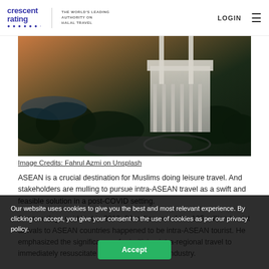crescent rating | THE WORLD'S LEADING AUTHORITY ON HALAL TRAVEL | LOGIN
[Figure (photo): Aerial view of a large white government or religious building surrounded by trees and roads, shot at dusk or dawn with warm orange tones on the left.]
Image Credits: Fahrul Azmi on Unsplash
ASEAN is a crucial destination for Muslims doing leisure travel. And stakeholders are mulling to pursue intra-ASEAN travel as a swift and feasible solution in a post-COVID setting.
Soemawilaga said that in 2019, 60 million out of the 135 million tourist arrivals to ASEAN countries happened to be intra-ASEAN tourist. He emphasized the significance of prioritizing intra-regional travel to immediately resuscitate the badly hit tourism industry.
"Of course, this kind of intra-ASEAN travel has been
Our website uses cookies to give you the best and most relevant experience. By clicking on accept, you give your consent to the use of cookies as per our privacy policy.